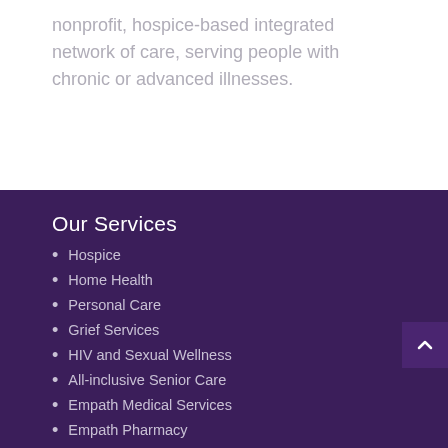nonprofit, hospice-based integrated network of care, serving people with chronic or advanced illnesses.
Our Services
Hospice
Home Health
Personal Care
Grief Services
HIV and Sexual Wellness
All-inclusive Senior Care
Empath Medical Services
Empath Pharmacy
Terms of Website Use